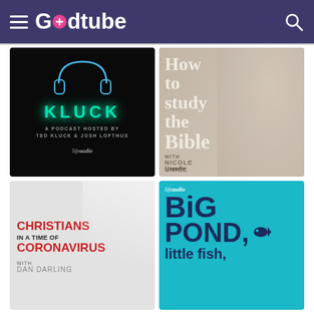Godtube
[Figure (screenshot): KLUCK podcast cover: black background, neon headphones, teal KLUCK text, 'A podcast hosted by Ted Kluck & Josh Lofthus', lifeaudio branding]
[Figure (screenshot): How to study the Bible with Nicole Unice podcast cover: photo of smiling woman, overlaid white serif text]
[Figure (screenshot): Christians in a Time of Coronavirus with Dan Darling podcast cover: light grey background, red and dark text]
[Figure (screenshot): Big Pond, Little Fish podcast cover: teal background, dark navy bold text, lifeaudio branding, fish icon]